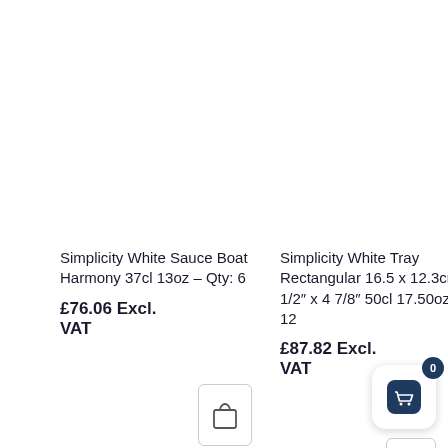Simplicity White Sauce Boat Harmony 37cl 13oz – Qty: 6
£76.06 Excl. VAT
Simplicity White Tray Rectangular 16.5 x 12.3cm 6 1/2″ x 4 7/8″ 50cl 17.50oz – Qty: 12
£87.82 Excl. VAT